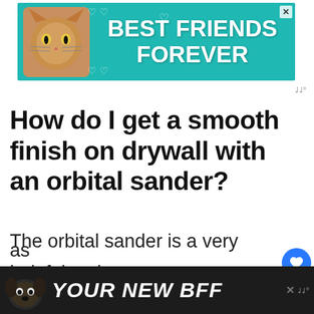[Figure (photo): Top advertisement banner with teal background showing a cat image and text 'BEST FRIENDS FOREVER' with heart decorations and a close button]
How do I get a smooth finish on drywall with an orbital sander?
The orbital sander is a very helpful tool your attempt to achieve a smooth finish on drywall. It is a very suitable tool for small spaces and small walls in particular as
[Figure (photo): Bottom advertisement banner with dark background showing a dog image and text 'YOUR NEW BFF' with a close button and Wren wordmark]